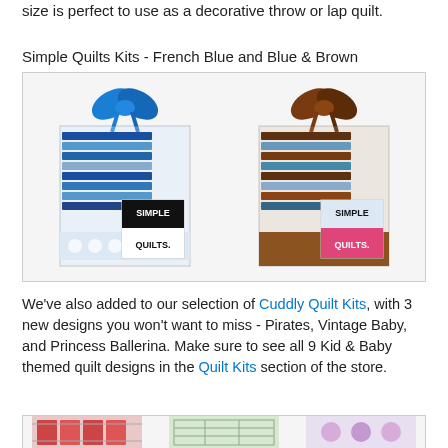size is perfect to use as a decorative throw or lap quilt.
Simple Quilts Kits - French Blue and Blue & Brown
[Figure (photo): Two Simple Quilts kit packages shown side by side. Left kit has a blue satin ribbon bow and contains blue-themed fabric strips with a 'SIMPLE QUILTS.' label card. Right kit has a brown satin ribbon bow and contains blue and brown fabric strips with a 'SIMPLE QUILTS.' label card in pink.]
We've also added to our selection of Cuddly Quilt Kits, with 3 new designs you won't want to miss - Pirates, Vintage Baby, and Princess Ballerina. Make sure to see all 9 Kid & Baby themed quilt designs in the Quilt Kits section of the store.
[Figure (photo): Bottom row of quilt kit thumbnails partially visible - three product images showing different quilt kits.]